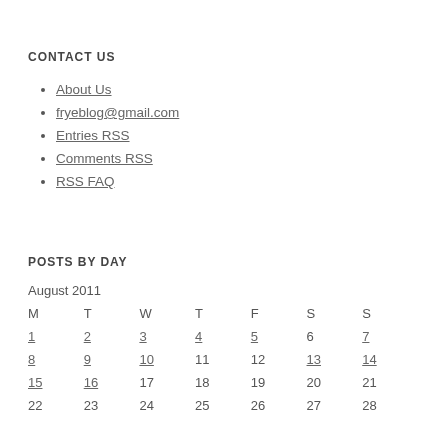CONTACT US
About Us
fryeblog@gmail.com
Entries RSS
Comments RSS
RSS FAQ
POSTS BY DAY
| M | T | W | T | F | S | S |
| --- | --- | --- | --- | --- | --- | --- |
| 1 | 2 | 3 | 4 | 5 | 6 | 7 |
| 8 | 9 | 10 | 11 | 12 | 13 | 14 |
| 15 | 16 | 17 | 18 | 19 | 20 | 21 |
| 22 | 23 | 24 | 25 | 26 | 27 | 28 |